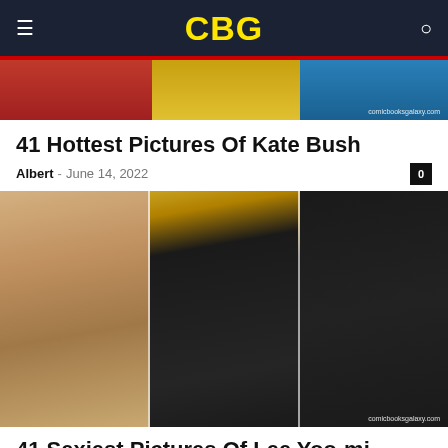CBG
[Figure (photo): Partial image of costumed figures (Kate Bush article thumbnail), cropped at top of page]
41 Hottest Pictures Of Kate Bush
Albert - June 14, 2022
[Figure (photo): Three-panel collage of Lee Yoo-mi in different outfits: tan blazer with green top, black dress with gold necklace, black outfit with yellow bag]
41 Sexiest Pictures Of Lee Yoo-mi
Albert - June 14, 2022